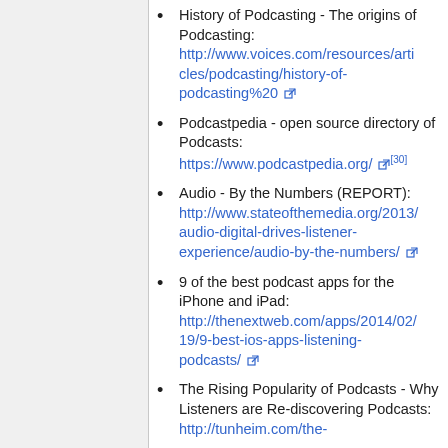History of Podcasting - The origins of Podcasting: http://www.voices.com/resources/articles/podcasting/history-of-podcasting%20 [external link]
Podcastpedia - open source directory of Podcasts: https://www.podcastpedia.org/ [external link][30]
Audio - By the Numbers (REPORT): http://www.stateofthemedia.org/2013/audio-digital-drives-listener-experience/audio-by-the-numbers/ [external link]
9 of the best podcast apps for the iPhone and iPad: http://thenextweb.com/apps/2014/02/19/9-best-ios-apps-listening-podcasts/ [external link]
The Rising Popularity of Podcasts - Why Listeners are Re-discovering Podcasts: http://tunheim.com/the-...